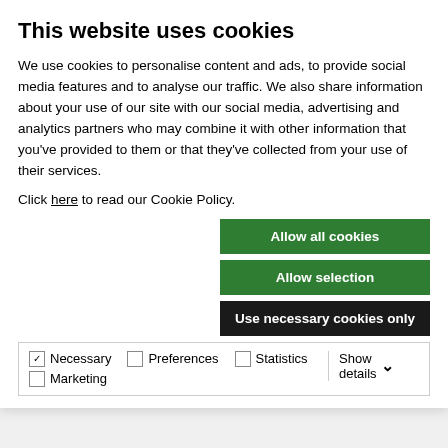This website uses cookies
We use cookies to personalise content and ads, to provide social media features and to analyse our traffic. We also share information about your use of our site with our social media, advertising and analytics partners who may combine it with other information that you've provided to them or that they've collected from your use of their services.
Click here to read our Cookie Policy.
Allow all cookies
Allow selection
Use necessary cookies only
Necessary  Preferences  Statistics  Marketing  Show details
Coolant: On
Step 4: Deep Hole Drilling - Blind
100% RPM